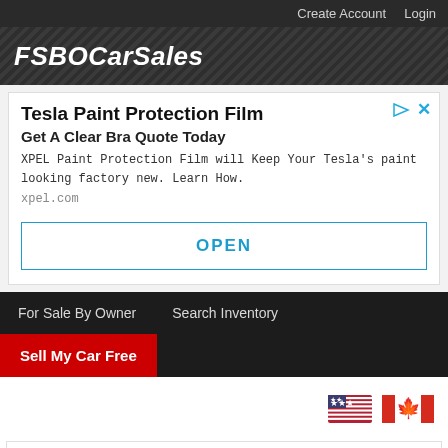Create Account  Login
FSBOCarSales
[Figure (screenshot): Advertisement for Tesla Paint Protection Film by XPEL. Headline: 'Tesla Paint Protection Film'. Subheading: 'Get A Clear Bra Quote Today'. Body: 'XPEL Paint Protection Film will Keep Your Tesla's paint looking factory new. Learn How.' URL: xpel.com. Button: OPEN]
For Sale By Owner
Search Inventory
Sell My Car Free
[Figure (illustration): US and Canadian flag icons]
[Figure (screenshot): Bottom advertisement bar with play and close controls]